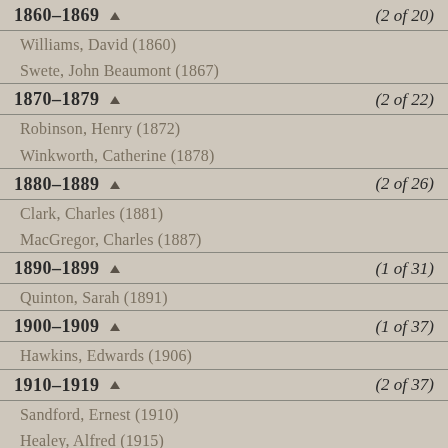1860–1869 ▲  (2 of 20)
Williams, David (1860)
Swete, John Beaumont (1867)
1870–1879 ▲  (2 of 22)
Robinson, Henry (1872)
Winkworth, Catherine (1878)
1880–1889 ▲  (2 of 26)
Clark, Charles (1881)
MacGregor, Charles (1887)
1890–1899 ▲  (1 of 31)
Quinton, Sarah (1891)
1900–1909 ▲  (1 of 37)
Hawkins, Edwards (1906)
1910–1919 ▲  (2 of 37)
Sandford, Ernest (1910)
Healey, Alfred (1915)
1920–1929 ▲  (0 of 15)